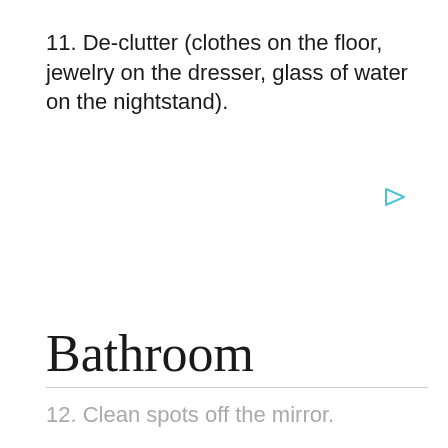11. De-clutter (clothes on the floor, jewelry on the dresser, glass of water on the nightstand).
[Figure (illustration): Small cyan/blue right-pointing play triangle icon]
Bathroom
12. Clean spots off the mirror.